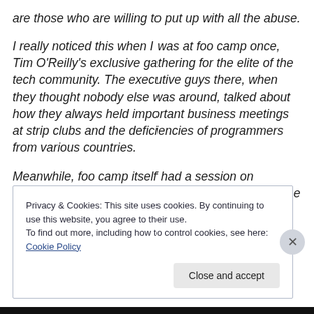are those who are willing to put up with all the abuse.
I really noticed this when I was at foo camp once, Tim O'Reilly's exclusive gathering for the elite of the tech community. The executive guys there, when they thought nobody else was around, talked about how they always held important business meetings at strip clubs and the deficiencies of programmers from various countries.
Meanwhile, foo camp itself had a session on discrimination in which it was explained to us that the real
Privacy & Cookies: This site uses cookies. By continuing to use this website, you agree to their use.
To find out more, including how to control cookies, see here: Cookie Policy
Close and accept